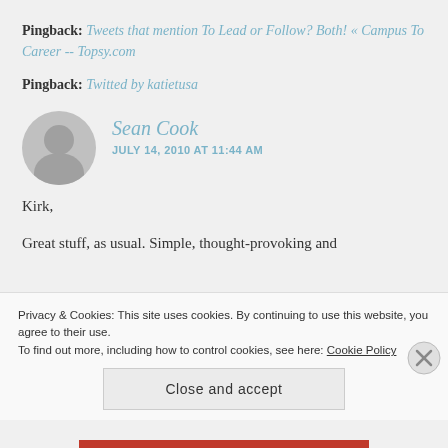Pingback: Tweets that mention To Lead or Follow? Both! « Campus To Career -- Topsy.com
Pingback: Twitted by katietusa
Sean Cook
JULY 14, 2010 AT 11:44 AM
Kirk,
Great stuff, as usual. Simple, thought-provoking and
Privacy & Cookies: This site uses cookies. By continuing to use this website, you agree to their use. To find out more, including how to control cookies, see here: Cookie Policy
Close and accept